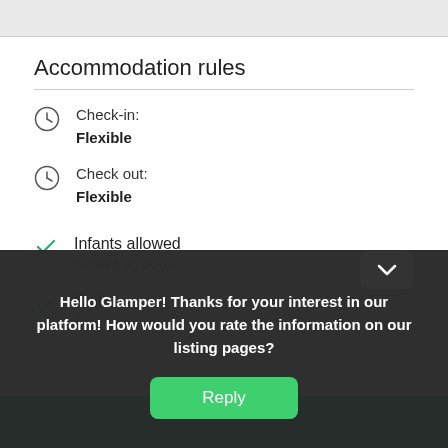Accommodation rules
Check-in: Flexible
Check out: Flexible
Infants allowed
Under 2 years old
Children allowed
2–12 years old
Hello Glamper! Thanks for your interest in our platform! How would you rate the information on our listing pages?